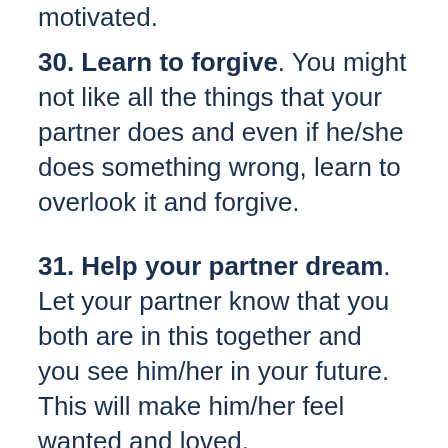motivated.
30. Learn to forgive. You might not like all the things that your partner does and even if he/she does something wrong, learn to overlook it and forgive.
31. Help your partner dream. Let your partner know that you both are in this together and you see him/her in your future. This will make him/her feel wanted and loved.
32. Create a quiet corner in your house. ADHD people prefer silence over